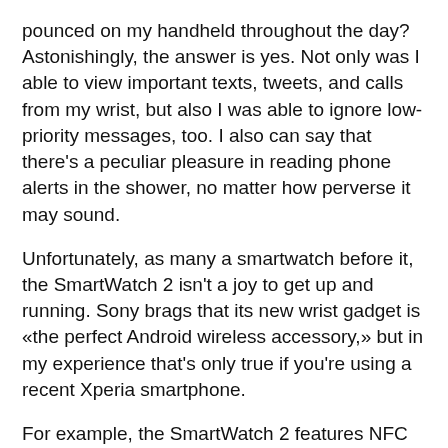pounced on my handheld throughout the day? Astonishingly, the answer is yes. Not only was I able to view important texts, tweets, and calls from my wrist, but also I was able to ignore low-priority messages, too. I also can say that there's a peculiar pleasure in reading phone alerts in the shower, no matter how perverse it may sound.
Unfortunately, as many a smartwatch before it, the SmartWatch 2 isn't a joy to get up and running. Sony brags that its new wrist gadget is «the perfect Android wireless accessory,» but in my experience that's only true if you're using a recent Xperia smartphone.
For example, the SmartWatch 2 features NFC for painless Bluetooth pairing. Ideally, all you have to do is tap the device's back (powered down) against your phone running Android 4.0 or higher. Once done, the watch will power up and direct your handset to the Google Play store to download the Sony Smart Connect app. Bumping devices together once more further instructs your phone to install